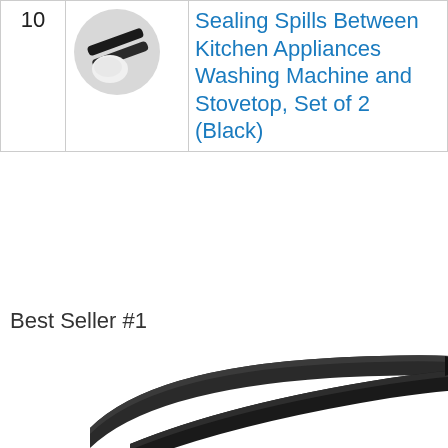| # | Image | Title |
| --- | --- | --- |
| 10 | [product thumbnail] | Sealing Spills Between Kitchen Appliances Washing Machine and Stovetop, Set of 2 (Black) |
Best Seller #1
[Figure (photo): Two black silicone gap cover strips for stovetop/counter gaps, photographed against white background]